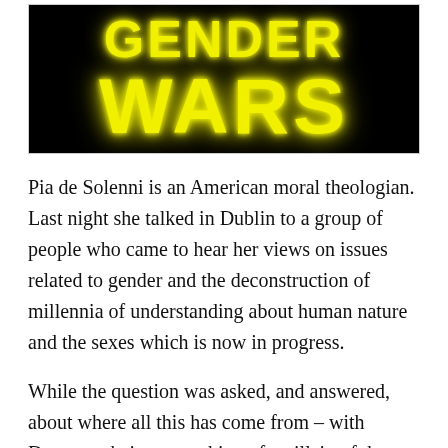[Figure (illustration): Black background image with yellow glowing Star Wars-style text showing 'GENDER WARS' (GENDER partially visible at top, WARS fully visible)]
Pia de Solenni is an American moral theologian. Last night she talked in Dublin to a group of people who came to hear her views on issues related to gender and the deconstruction of millennia of understanding about human nature and the sexes which is now in progress.
While the question was asked, and answered, about where all this has come from – with Descartes being something of a villain of the piece – and the question of where it was all going being at least tentatively answered – down the tubes being one scary option, the